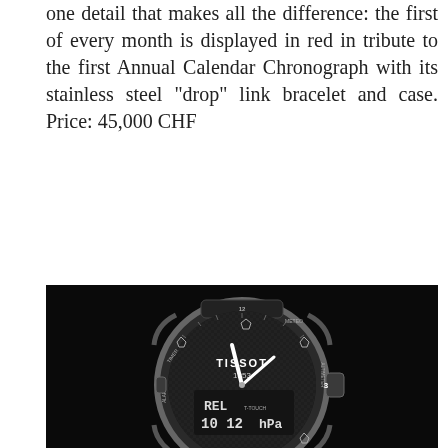one detail that makes all the difference: the first of every month is displayed in red in tribute to the first Annual Calendar Chronograph with its stainless steel “drop” link bracelet and case. Price: 45,000 CHF
Leave a comment
[Figure (photo): A Tissot T-Touch Expert watch photographed against a black background. The watch features a dark dial with analog hands, digital display showing 'REL', '10 12', 'hPa', and bezel markings including TIMER, METEO, ALTIMETER, ALARM. The watch has a rubber strap.]